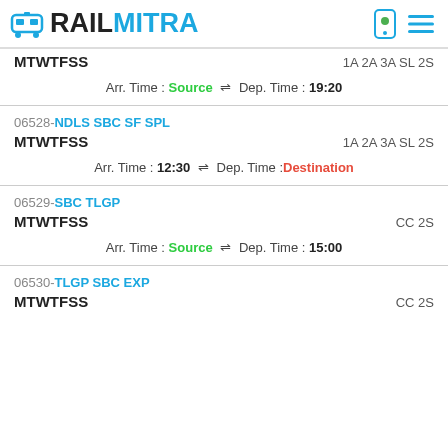RAILMITRA
MTWTFSS   1A 2A 3A SL 2S
Arr. Time : Source ⇌ Dep. Time : 19:20
06528-NDLS SBC SF SPL
MTWTFSS   1A 2A 3A SL 2S
Arr. Time : 12:30 ⇌ Dep. Time : Destination
06529-SBC TLGP
MTWTFSS   CC 2S
Arr. Time : Source ⇌ Dep. Time : 15:00
06530-TLGP SBC EXP
MTWTFSS   CC 2S